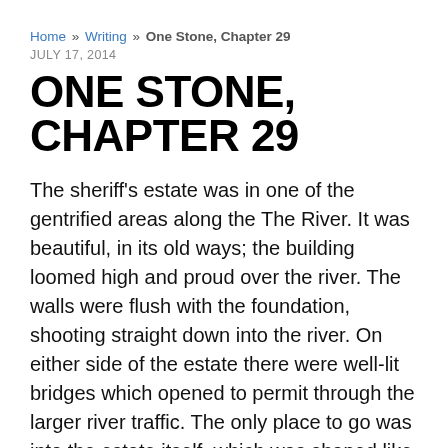Home » Writing » One Stone, Chapter 29
JULY 17, 2014
ONE STONE, CHAPTER 29
The sheriff's estate was in one of the gentrified areas along the The River. It was beautiful, in its old ways; the building loomed high and proud over the river. The walls were flush with the foundation, shooting straight down into the river. On either side of the estate there were well-lit bridges which opened to permit through the larger river traffic. The only place to go was into the estate itself, which was shaped like an U, facing outwards to the river flow with a little lock inside for boats to fill. Normally, it was used to store something like a delightful riverboat, or perhaps a yacht – with the doors open. At the crests of the U, there were two